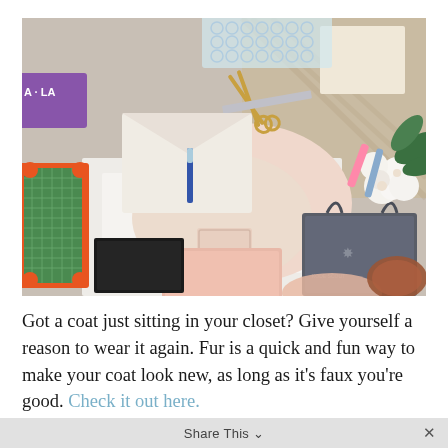[Figure (photo): Overhead flat-lay photo of sewing and crafting supplies including scissors, rulers, fabric swatches in pink and white, bubble wrap, flowers (white roses), a dark shopping bag, and various tools scattered on a surface.]
Got a coat just sitting in your closet? Give yourself a reason to wear it again. Fur is a quick and fun way to make your coat look new, as long as it's faux you're good. Check it out here.
Share This ∨  ×